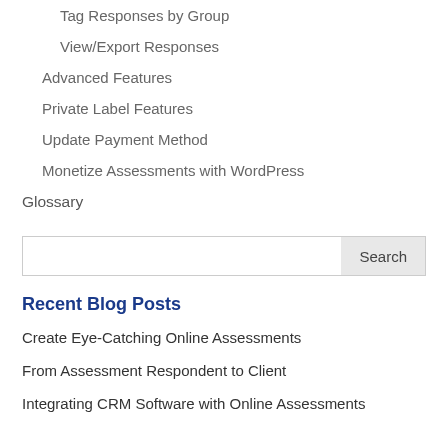Tag Responses by Group
View/Export Responses
Advanced Features
Private Label Features
Update Payment Method
Monetize Assessments with WordPress
Glossary
Search
Recent Blog Posts
Create Eye-Catching Online Assessments
From Assessment Respondent to Client
Integrating CRM Software with Online Assessments